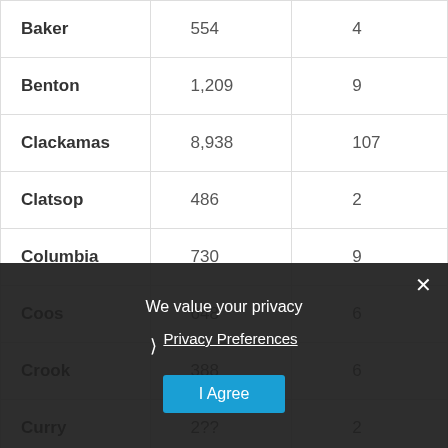| County | Count | Number |
| --- | --- | --- |
| Baker | 554 | 4 |
| Benton | 1,209 | 9 |
| Clackamas | 8,938 | 107 |
| Clatsop | 486 | 2 |
| Columbia | 730 | 9 |
| Coos | 648 | 6 |
| Crook | 388 | 6 |
| Curry | 2?? | 2 |
We value your privacy
Privacy Preferences
I Agree